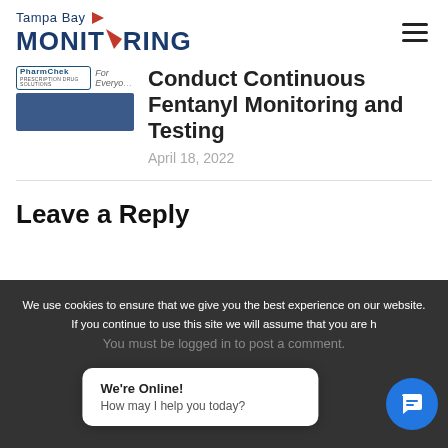Tampa Bay MONITORING
[Figure (logo): PharmChek logo with text 'For Everyone' and a blue rectangle thumbnail]
Conduct Continuous Fentanyl Monitoring and Testing
April 18, 2022
Leave a Reply
We use cookies to ensure that we give you the best experience on our website. If you continue to use this site we will assume that you are h
You must be logged in to post a comment.
We're Online!
How may I help you today?